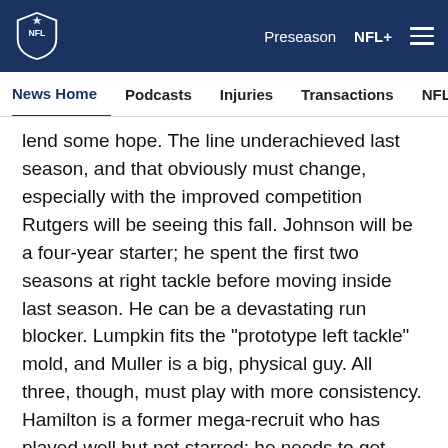[Figure (logo): NFL shield logo in white on navy header bar]
Preseason   NFL+   ☰
News Home   Podcasts   Injuries   Transactions   NFL Writers   Se
lend some hope. The line underachieved last season, and that obviously must change, especially with the improved competition Rutgers will be seeing this fall. Johnson will be a four-year starter; he spent the first two seasons at right tackle before moving inside last season. He can be a devastating run blocker. Lumpkin fits the "prototype left tackle" mold, and Muller is a big, physical guy. All three, though, must play with more consistency. Hamilton is a former mega-recruit who has played well but not starred; he needs to get bigger and stronger, but has a high ceiling. Longa played well as a redshirt freshman last season; he is active and is
[Figure (other): Social sharing icons: Facebook, Twitter, Email, Link/copy]